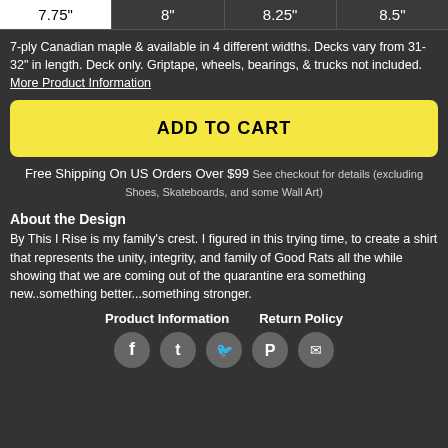| 7.75" | 8" | 8.25" | 8.5" |
| --- | --- | --- | --- |
7-ply Canadian maple & available in 4 different widths. Decks vary from 31-32" in length. Deck only. Griptape, wheels, bearings, & trucks not included. More Product Information
ADD TO CART
Free Shipping On US Orders Over $99 See checkout for details (excluding Shoes, Skateboards, and some Wall Art)
About the Design
By This I Rise is my family’s crest. I figured in this trying time, to create a shirt that represents the unity, integrity, and family of Good Rats all the while showing that we are coming out of the quarantine era something new..something better...something stronger.
Product Information    Return Policy